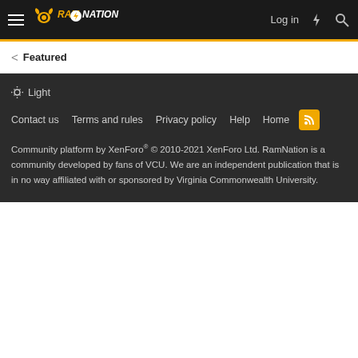RamNation — Log in
Featured
Light
Contact us  Terms and rules  Privacy policy  Help  Home
Community platform by XenForo® © 2010-2021 XenForo Ltd. RamNation is a community developed by fans of VCU. We are an independent publication that is in no way affiliated with or sponsored by Virginia Commonwealth University.